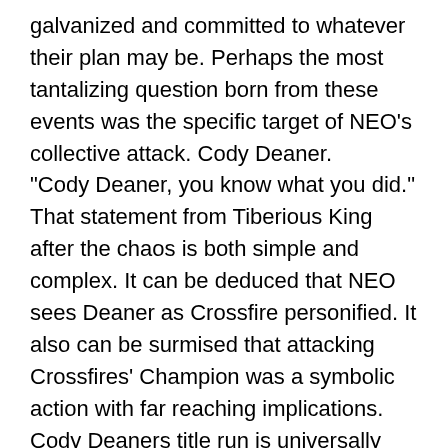galvanized and committed to whatever their plan may be. Perhaps the most tantalizing question born from these events was the specific target of NEO's collective attack. Cody Deaner. "Cody Deaner, you know what you did." That statement from Tiberious King after the chaos is both simple and complex. It can be deduced that NEO sees Deaner as Crossfire personified. It also can be surmised that attacking Crossfires' Champion was a symbolic action with far reaching implications. Cody Deaners title run is universally recognized as the most dominant run in Crossfires history. In one calendar year, he went 7-0, defeating 9 men (2 of those matches were triple threats), 4 of which were former World Champions. The caliber and frequency of his defences is unparalleled. The parting of ways between he and